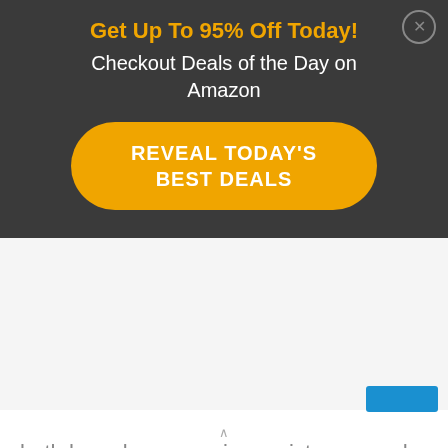[Figure (screenshot): Dark banner advertisement with orange text 'Get Up To 95% Off Today!', white text 'Checkout Deals of the Day on Amazon', and an orange rounded button saying 'REVEAL TODAY'S BEST DEALS'. A close (X) button is in the top right corner.]
both have low corrosion resistance, and
finally, 1095 is easier to sharpen.
[Figure (screenshot): Small blue bar element visible at bottom right, partial UI element.]